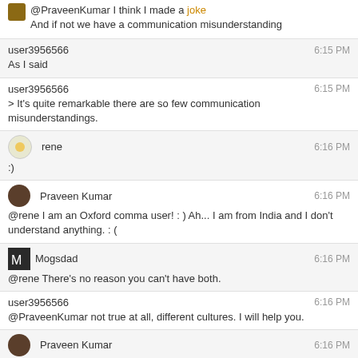@PraveenKumar I think I made a joke
And if not we have a communication misunderstanding
user3956566 6:15 PM
As I said
user3956566 6:15 PM
> It's quite remarkable there are so few communication misunderstandings.
rene 6:16 PM
:)
Praveen Kumar 6:16 PM
@rene I am an Oxford comma user!  : ) Ah... I am from India and I don't understand anything.  : (
Mogsdad 6:16 PM
@rene There's no reason you can't have both.
user3956566 6:16 PM
@PraveenKumar not true at all, different cultures. I will help you.
Praveen Kumar 6:16 PM
@MsYvetteəɳəʌʌsW Need to be either more British or Western or International! LoL.
user3956566 6:16 PM
oh people that end sentences like this.... drives @TinyGiant crazy :D